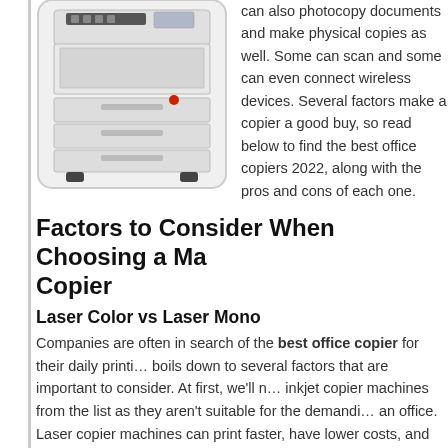[Figure (photo): A large white multifunction office copier/printer with paper trays, shown in a rounded rectangle frame.]
can also photocopy documents and make physical copies as well. Some can scan and some can even connect wireless devices. Several factors make a copier a good buy, so read below to find the best office copiers 2022, along with the pros and cons of each one.
Factors to Consider When Choosing a Multifunction Copier
Laser Color vs Laser Mono
Companies are often in search of the best office copier for their daily printing needs. It boils down to several factors that are important to consider. At first, we'll need to exclude inkjet copier machines from the list as they aren't suitable for the demanding environments of an office. Laser copier machines can print faster, have lower costs, and have a longer lifespan than inkjet copiers.
Now we need to figure out whether you need to print color pages with the copier. There are laser color and laser mono machine copiers in the market. Laser color copiers can print in color with decent quality and still have the same excellent mono print quality as laser mono copier machines.
However, in most cases, laser color printers can't print as many pages as...